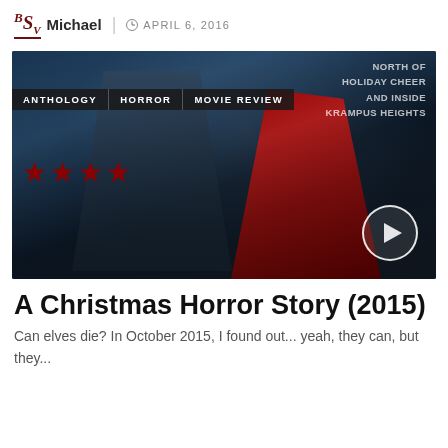BSV | Michael | APRIL 6, 2016
[Figure (photo): Movie promotional image for A Christmas Horror Story (2015) showing a dark fantasy scene with a horned creature and a figure in a red cloak, snowy background. Tags shown: ANTHOLOGY, HORROR, MOVIE REVIEW. Four red stars rating. Play button icon in bottom right.]
A Christmas Horror Story (2015)
Can elves die? In October 2015, I found out... yeah, they can, but they...